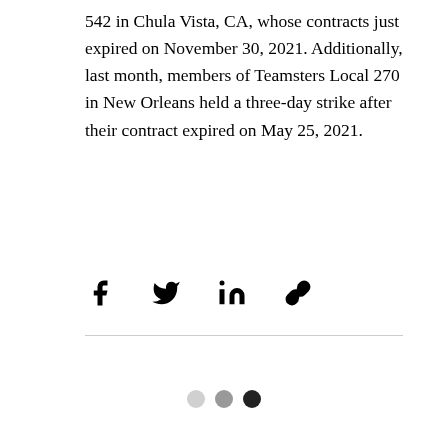542 in Chula Vista, CA, whose contracts just expired on November 30, 2021. Additionally, last month, members of Teamsters Local 270 in New Orleans held a three-day strike after their contract expired on May 25, 2021.
[Figure (other): Social share icons: Facebook, Twitter, LinkedIn, and link/chain icon]